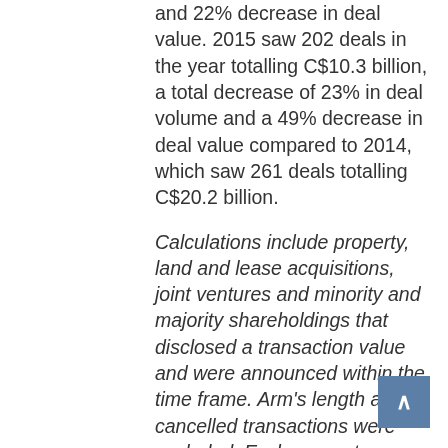and 22% decrease in deal value. 2015 saw 202 deals in the year totalling C$10.3 billion, a total decrease of 23% in deal volume and a 49% decrease in deal value compared to 2014, which saw 261 deals totalling C$20.2 billion.
Calculations include property, land and lease acquisitions, joint ventures and minority and majority shareholdings that disclosed a transaction value and were announced within the time frame. Arm's length and cancelled transactions were excluded. Exchange rates based on historical figures.